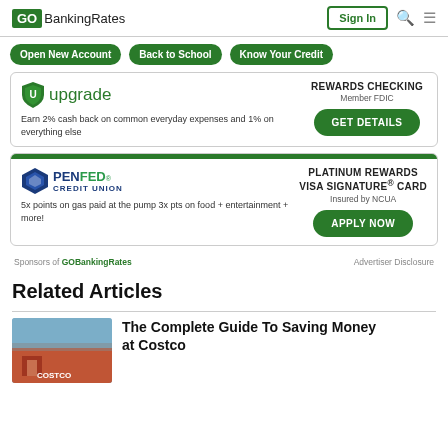GOBankingRates | Sign In
Open New Account
Back to School
Know Your Credit
[Figure (infographic): Upgrade Rewards Checking advertisement card. Logo shows upgrade shield icon and 'upgrade' text. Right side: REWARDS CHECKING, Member FDIC, GET DETAILS button. Left description: Earn 2% cash back on common everyday expenses and 1% on everything else.]
[Figure (infographic): PenFed Credit Union Platinum Rewards Visa Signature Card advertisement. Logo shows PenFed pentagon icon and PENFED CREDIT UNION text. Right: PLATINUM REWARDS VISA SIGNATURE® CARD, Insured by NCUA, APPLY NOW button. Left: 5x points on gas paid at the pump 3x pts on food + entertainment + more!]
Sponsors of GOBankingRates    Advertiser Disclosure
Related Articles
The Complete Guide To Saving Money at Costco